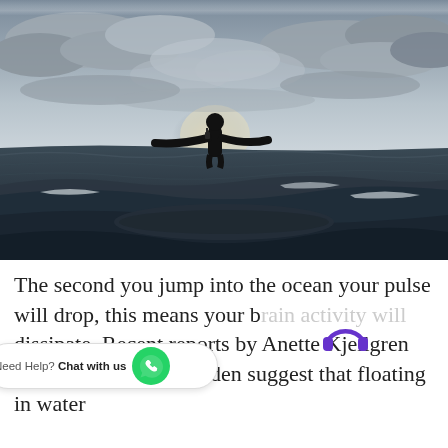[Figure (photo): Black and white photograph taken from water level showing a surfer silhouetted against a bright sky with dramatic clouds. The person is seen from behind, arms outstretched on a surfboard, with ocean waves in the foreground.]
The second you jump into the ocean your pulse will drop, this means your b[rain activity will] dissipate. Recent reports by Anette Kjellgren and colleagues in Sweden suggest that floating in water